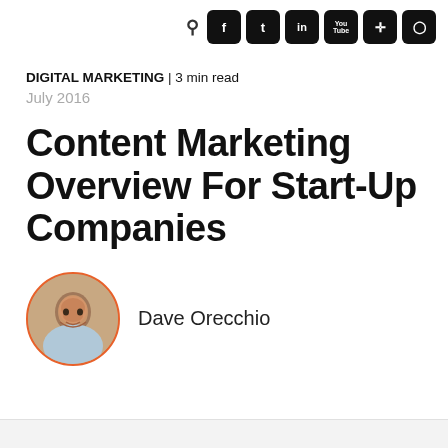DIGITAL MARKETING | 3 min read
July 2016
Content Marketing Overview For Start-Up Companies
Dave Orecchio